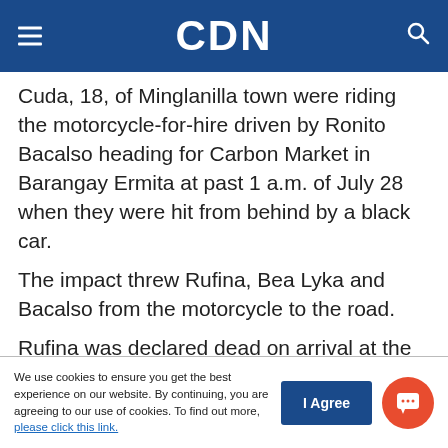CDN
Cuda, 18, of Minglanilla town were riding the motorcycle-for-hire driven by Ronito Bacalso heading for Carbon Market in Barangay Ermita at past 1 a.m. of July 28 when they were hit from behind by a black car.
The impact threw Rufina, Bea Lyka and Bacalso from the motorcycle to the road.
Rufina was declared dead on arrival at the Minglanilla District Hospital while Bea Lyka was
We use cookies to ensure you get the best experience on our website. By continuing, you are agreeing to our use of cookies. To find out more, please click this link.